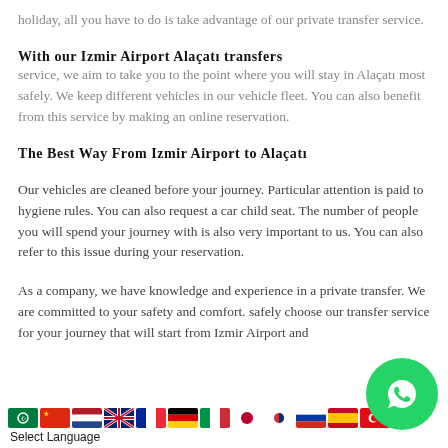holiday, all you have to do is take advantage of our private transfer service.
With our Izmir Airport Alaçatı transfers
service, we aim to take you to the point where you will stay in Alaçatı most safely. We keep different vehicles in our vehicle fleet. You can also benefit from this service by making an online reservation.
The Best Way From Izmir Airport to Alaçatı
Our vehicles are cleaned before your journey. Particular attention is paid to hygiene rules. You can also request a car child seat. The number of people you will spend your journey with is also very important to us. You can also refer to this issue during your reservation.
As a company, we have knowledge and experience in a private transfer. We are committed to your safety and comfort. safely choose our transfer service for your journey that will start from Izmir Airport and
Select Language